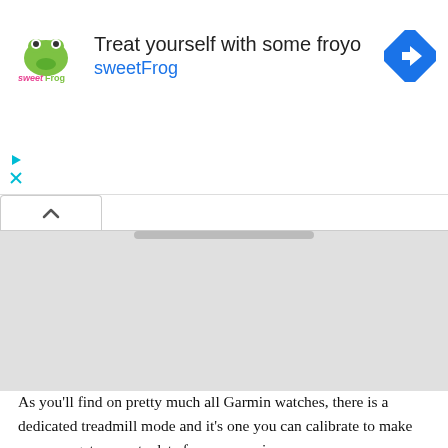[Figure (other): Advertisement banner for sweetFrog frozen yogurt with logo, text 'Treat yourself with some froyo sweetFrog', and a blue navigation arrow icon. Ad controls (play and close) are shown on the left.]
[Figure (other): Map/grey placeholder area with a tab showing an up-arrow (collapse) icon on the top left and a grey rectangular content area below.]
As you'll find on pretty much all Garmin watches, there is a dedicated treadmill mode and it's one you can calibrate to make sure you get accurate data for your sessions.
We could pick the Forerunner 45 or even the 945, but the 245 is a strong option to look to for treadmill runs. The heart rate monitor holds up well on the accuracy front and you do of course have the